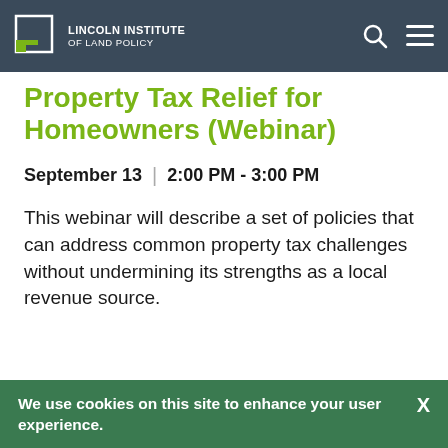Lincoln Institute of Land Policy
Property Tax Relief for Homeowners (Webinar)
September 13  |  2:00 PM - 3:00 PM
This webinar will describe a set of policies that can address common property tax challenges without undermining its strengths as a local revenue source.
We use cookies on this site to enhance your user experience.